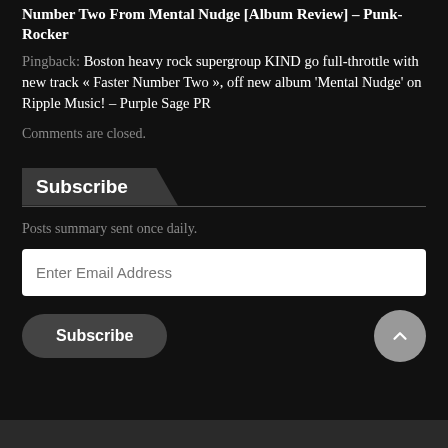Number Two From Mental Nudge [Album Review] – Punk-Rocker
Pingback: Boston heavy rock supergroup KIND go full-throttle with new track « Faster Number Two », off new album 'Mental Nudge' on Ripple Music! – Purple Sage PR
Comments are closed.
Subscribe
Posts summary sent once daily.
Enter Email Address
Subscribe